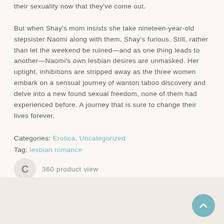their sexuality now that they've come out.
But when Shay's mom insists she take nineteen-year-old stepsister Naomi along with them, Shay's furious. Still, rather than let the weekend be ruined—and as one thing leads to another—Naomi's own lesbian desires are unmasked. Her uptight, inhibitions are stripped away as the three women embark on a sensual journey of wanton taboo discovery and delve into a new found sexual freedom, none of them had experienced before. A journey that is sure to change their lives forever.
Categories: Erotica, Uncategorized
Tag: lesbian romance
360 product view
[Figure (illustration): Teal/cyan circular scroll-to-top button with an upward-pointing chevron arrow, positioned in the bottom-right corner]